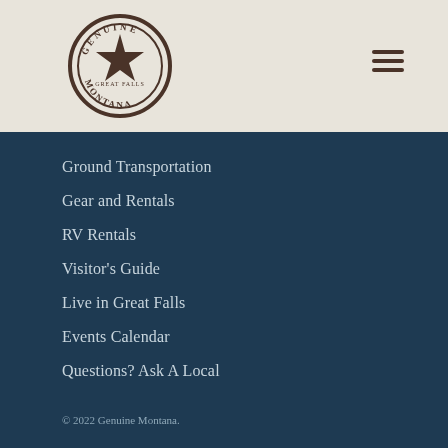[Figure (logo): Genuine Montana Great Falls circular stamp logo with star in center, dark brown on beige background]
Ground Transportation
Gear and Rentals
RV Rentals
Visitor's Guide
Live in Great Falls
Events Calendar
Questions? Ask A Local
© 2022 Genuine Montana.